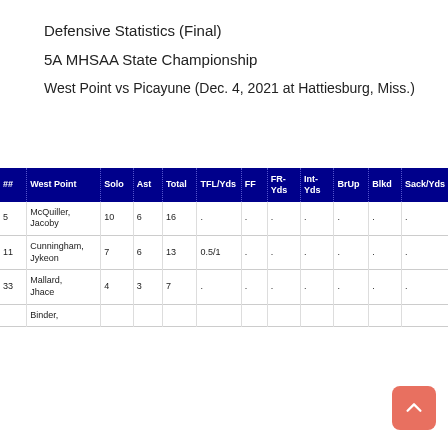Defensive Statistics (Final)
5A MHSAA State Championship
West Point vs Picayune (Dec. 4, 2021 at Hattiesburg, Miss.)
| ## | West Point | Solo | Ast | Total | TFL/Yds | FF | FR-Yds | Int-Yds | BrUp | Blkd | Sack/Yds |
| --- | --- | --- | --- | --- | --- | --- | --- | --- | --- | --- | --- |
| 5 | McQuiller, Jacoby | 10 | 6 | 16 | . | . | . | . | . | . | . |
| 11 | Cunningham, Jykeon | 7 | 6 | 13 | 0.5/1 | . | . | . | . | . | . |
| 33 | Mallard, Jhace | 4 | 3 | 7 | . | . | . | . | . | . | . |
|  | Binder, |  |  |  |  |  |  |  |  |  |  |